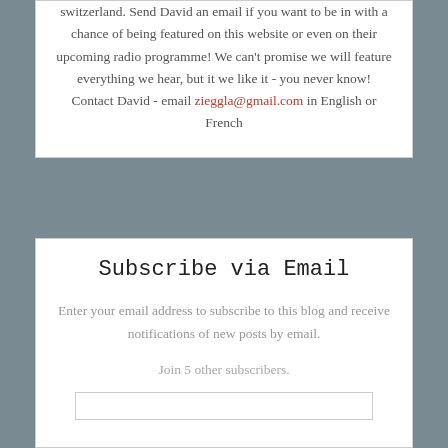switzerland. Send David an email if you want to be in with a chance of being featured on this website or even on their upcoming radio programme! We can't promise we will feature everything we hear, but it we like it - you never know! Contact David - email zieggla@gmail.com in English or French
Subscribe via Email
Enter your email address to subscribe to this blog and receive notifications of new posts by email.
Join 5 other subscribers.